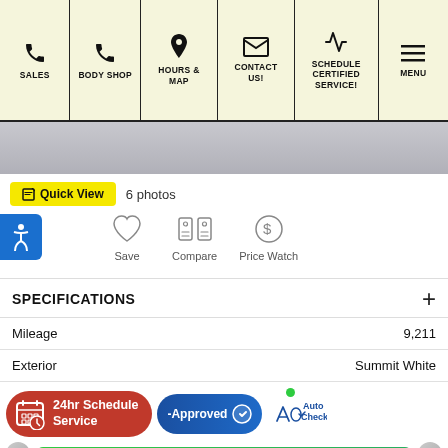SALES | BODY SHOP | HOURS & MAP | CONTACT US! | SCHEDULE CERTIFIED SERVICE! | MENU
[Figure (screenshot): Gray vehicle image placeholder area]
Quick View  6 photos
Save  Compare  Price Watch
SPECIFICATIONS
| Field | Value |
| --- | --- |
| Mileage | 9,211 |
| Exterior | Summit White |
24hr Schedule Service
-Approved
[Figure (logo): AutoCheck logo]